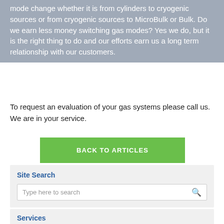mode change whether it is from cylinders to cryogenic sources or from cryogenic sources to MicroBulk or Bulk. Do we earn less money switching gas modes? Yes we do, but it is the right thing to do and our efforts earn us a long term relationship with our customers.
To request an evaluation of your gas systems please call us. We are in your service.
[Figure (other): Green button labeled BACK TO ARTICLES]
Site Search
Type here to search
Services